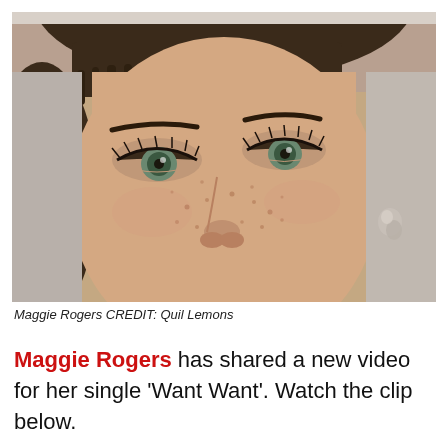[Figure (photo): Close-up portrait of Maggie Rogers, a woman with short dark hair with bangs, freckles, blue-green eyes, and a small stud earring, photographed against a light grey background.]
Maggie Rogers CREDIT: Quil Lemons
Maggie Rogers has shared a new video for her single ‘Want Want’. Watch the clip below.